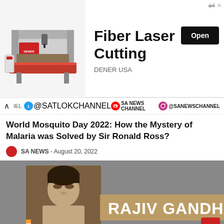[Figure (other): Advertisement banner for Fiber Laser Cutting machine by DENER USA with an Open button]
[Figure (other): Social media channels bar showing @SATLOKCHANNEL on Twitter, SA NEWS CHANNEL on YouTube, @SANEWSCHANNEL on Instagram]
World Mosquito Day 2022: How the Mystery of Malaria was Solved by Sir Ronald Ross?
SA NEWS - August 20, 2022
[Figure (photo): Photo of Rajiv Gandhi with text 'RAJIV GANDH' and caption 'iv Gandhi Birth Anniversary: Bio, Wife, De...']